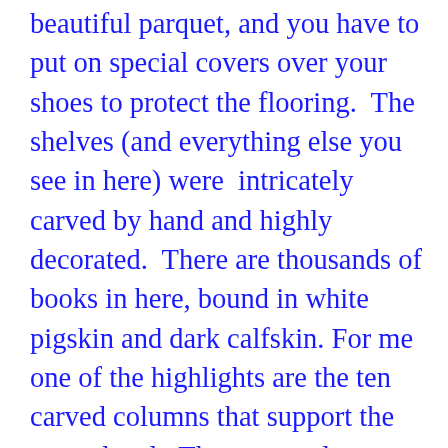beautiful parquet, and you have to put on special covers over your shoes to protect the flooring.  The shelves (and everything else you see in here) were  intricately carved by hand and highly decorated.  There are thousands of books in here, bound in white pigskin and dark calfskin. For me one of the highlights are the ten carved columns that support the upper level.  These ten columns are carved in the shape of allegorical figures.  The represent human weaknesses like vanity, ignorance, pride, and boastfulness.  They were carved by a local artist named Karl Stilp in 1725.  The library also has a painted ceiling and ornamental plaster work.